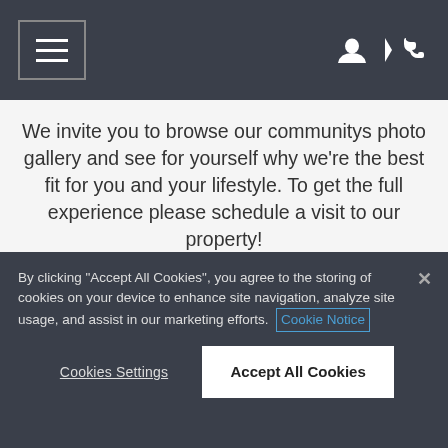Navigation bar with hamburger menu, user icon, and phone icon
We invite you to browse our communitys photo gallery and see for yourself why we're the best fit for you and your lifestyle. To get the full experience please schedule a visit to our property!
VIEW GALLERY
By clicking "Accept All Cookies", you agree to the storing of cookies on your device to enhance site navigation, analyze site usage, and assist in our marketing efforts. Cookie Notice
Cookies Settings
Accept All Cookies